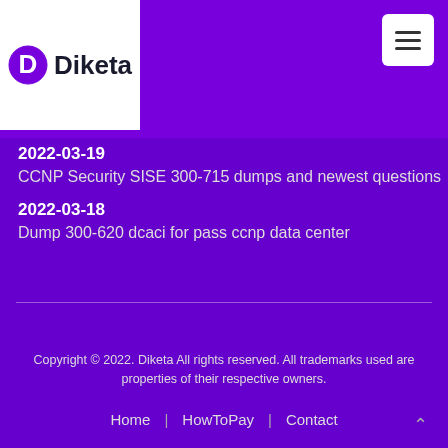Diketa
2022-03-19
CCNP Security SISE 300-715 dumps and newest questions
2022-03-18
Dump 300-620 dcaci for pass ccnp data center
Copyright © 2022. Diketa All rights reserved. All trademarks used are properties of their respective owners. Home | HowToPay | Contact